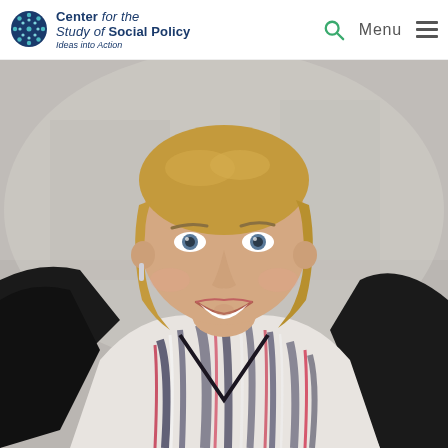Center for the Study of Social Policy — Ideas into Action
[Figure (photo): Professional headshot of a smiling woman with short blonde hair, wearing a black cardigan over a colorful abstract-patterned blouse, photographed in front of a blurred indoor background.]